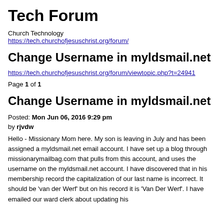Tech Forum
Church Technology
https://tech.churchofjesuschrist.org/forum/
Change Username in myldsmail.net
https://tech.churchofjesuschrist.org/forum/viewtopic.php?t=24941
Page 1 of 1
Change Username in myldsmail.net
Posted: Mon Jun 06, 2016 9:29 pm
by rjvdw
Hello - Missionary Mom here. My son is leaving in July and has been assigned a myldsmail.net email account. I have set up a blog through missionarymailbag.com that pulls from this account, and uses the username on the myldsmail.net account. I have discovered that in his membership record the capitalization of our last name is incorrect. It should be 'van der Werf' but on his record it is 'Van Der Werf'. I have emailed our ward clerk about updating his